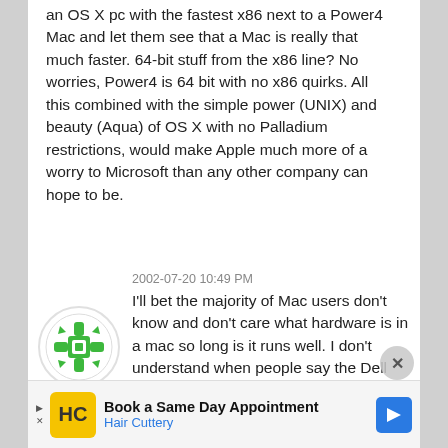an OS X pc with the fastest x86 next to a Power4 Mac and let them see that a Mac is really that much faster. 64-bit stuff from the x86 line? No worries, Power4 is 64 bit with no x86 quirks. All this combined with the simple power (UNIX) and beauty (Aqua) of OS X with no Palladium restrictions, would make Apple much more of a worry to Microsoft than any other company can hope to be.
2002-07-20 10:49 PM
I'll bet the majority of Mac users don't know and don't care what hardware is in a mac so long is it runs well. I don't understand when people say the Dell and HP and Microsoft will kill Apple if they move to x86 cause that's what happened to OS/2… It makes no sense. IBM tried to sell a boxed OS which
[Figure (logo): Green decorative snowflake/gear avatar icon on white circular background]
Book a Same Day Appointment Hair Cuttery